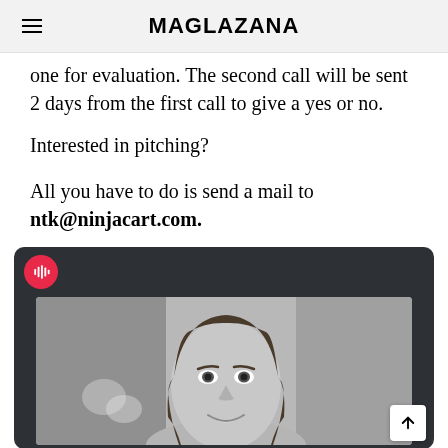MAGLAZANA
one for evaluation. The second call will be sent 2 days from the first call to give a yes or no.
Interested in pitching?
All you have to do is send a mail to ntk@ninjacart.com.
[Figure (photo): A media player widget with a podcast icon on a dark background, showing a black and white video thumbnail of a young woman smiling]